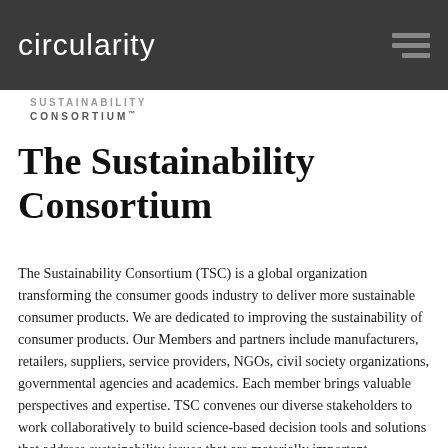circularity
SUSTAINABILITY CONSORTIUM™
The Sustainability Consortium
The Sustainability Consortium (TSC) is a global organization transforming the consumer goods industry to deliver more sustainable consumer products. We are dedicated to improving the sustainability of consumer products. Our Members and partners include manufacturers, retailers, suppliers, service providers, NGOs, civil society organizations, governmental agencies and academics. Each member brings valuable perspectives and expertise. TSC convenes our diverse stakeholders to work collaboratively to build science-based decision tools and solutions that address sustainability issues that are materially important throughout a product's supply chain and lifecycle. TSC also offers a portfolio of services to help drive effective implementation.